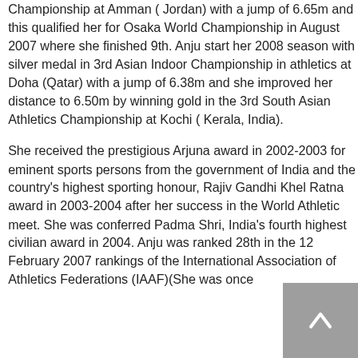Championship at Amman (Jordan) with a jump of 6.65m and this qualified her for Osaka World Championship in August 2007 where she finished 9th. Anju start her 2008 season with silver medal in 3rd Asian Indoor Championship in athletics at Doha (Qatar) with a jump of 6.38m and she improved her distance to 6.50m by winning gold in the 3rd South Asian Athletics Championship at Kochi ( Kerala, India).
She received the prestigious Arjuna award in 2002-2003 for eminent sports persons from the government of India and the country's highest sporting honour, Rajiv Gandhi Khel Ratna award in 2003-2004 after her success in the World Athletic meet. She was conferred Padma Shri, India's fourth highest civilian award in 2004. Anju was ranked 28th in the 12 February 2007 rankings of the International Association of Athletics Federations (IAAF)(She was once